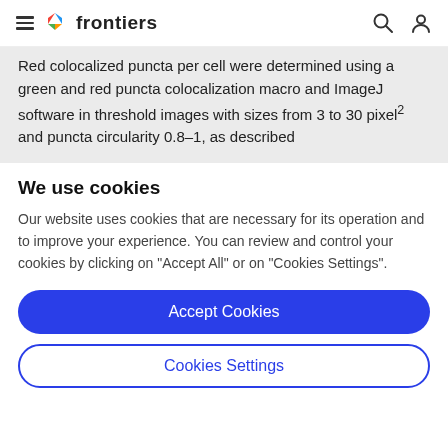frontiers
Red colocalized puncta per cell were determined using a green and red puncta colocalization macro and ImageJ software in threshold images with sizes from 3 to 30 pixel² and puncta circularity 0.8–1, as described
We use cookies
Our website uses cookies that are necessary for its operation and to improve your experience. You can review and control your cookies by clicking on "Accept All" or on "Cookies Settings".
Accept Cookies
Cookies Settings